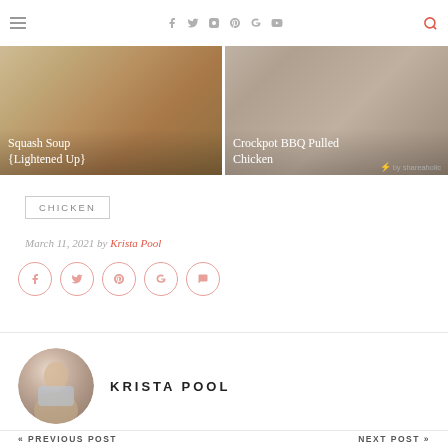Social icons: facebook, twitter, instagram, pinterest, google+, youtube, search
[Figure (photo): Squash Soup {Lightened Up} recipe card image]
[Figure (photo): Crockpot BBQ Pulled Chicken recipe card image]
by shareaholic
CHICKEN
March 11, 2021 by Krista Pool
[Figure (infographic): Social share buttons: facebook, twitter, pinterest, google+, comment]
[Figure (photo): Krista Pool author avatar photo]
KRISTA POOL
« PREVIOUS POST    NEXT POST »